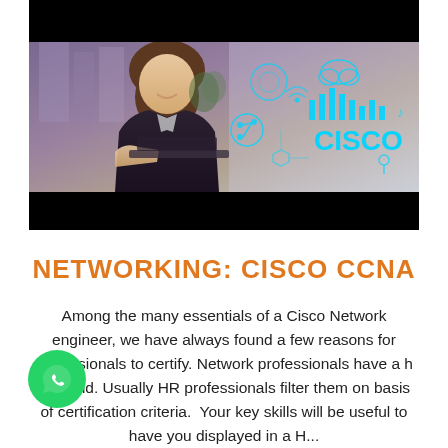[Figure (photo): A professional woman in a business suit smiling at desk with laptop, overlaid with Cisco networking icons and CISCO branding in cyan/teal on right side. Black letterbox bars at top and bottom.]
NETWORKING: CISCO CCNA
Among the many essentials of a Cisco Network engineer, we have always found a few reasons for professionals to certify. Network professionals have a h demand. Usually HR professionals filter them on basis of certification criteria.  Your key skills will be useful to have you displayed in a H...